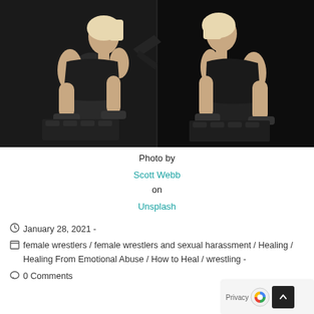[Figure (photo): A muscular blonde woman in black athletic wear working out with dumbbells in a dark gym, shown from two angles (mirror reflection). Photo by Scott Webb on Unsplash.]
Photo by Scott Webb on Unsplash
January 28, 2021 -
female wrestlers / female wrestlers and sexual harassment / Healing / Healing From Emotional Abuse / How to Heal / wrestling -
0 Comments